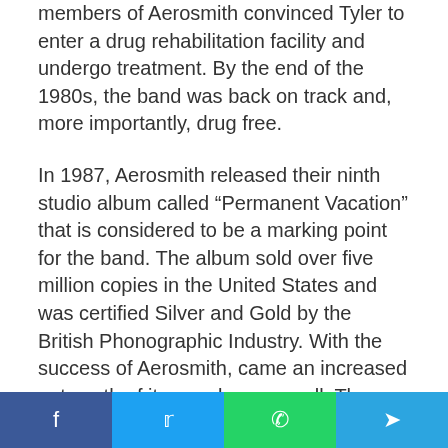members of Aerosmith convinced Tyler to enter a drug rehabilitation facility and undergo treatment. By the end of the 1980s, the band was back on track and, more importantly, drug free.
In 1987, Aerosmith released their ninth studio album called “Permanent Vacation” that is considered to be a marking point for the band. The album sold over five million copies in the United States and was certified Silver and Gold by the British Phonographic Industry. With the success of Aerosmith, came an increased net worth of its members as well. The band continued to record and release albums, and in 2001 Aerosmith was in best their